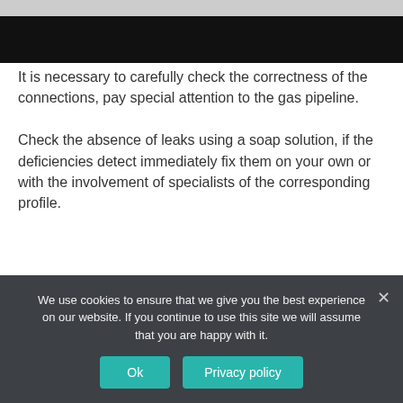[Figure (photo): Partial photo of a boiler/heating unit — grey top portion and a black strip below it]
Ignition Fault Baxi Solo 30 SE
It is necessary to carefully check the correctness of the connections, pay special attention to the gas pipeline.
Check the absence of leaks using a soap solution, if the deficiencies detect immediately fix them on your own or with the involvement of specialists of the corresponding profile.
We use cookies to ensure that we give you the best experience on our website. If you continue to use this site we will assume that you are happy with it.